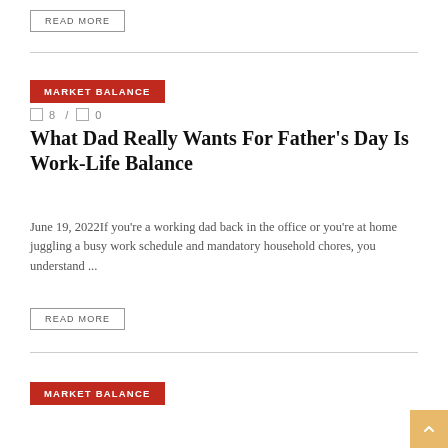READ MORE
MARKET BALANCE
8 / 0
What Dad Really Wants For Father's Day Is Work-Life Balance
June 19, 2022If you're a working dad back in the office or you're at home juggling a busy work schedule and mandatory household chores, you understand ...
READ MORE
MARKET BALANCE